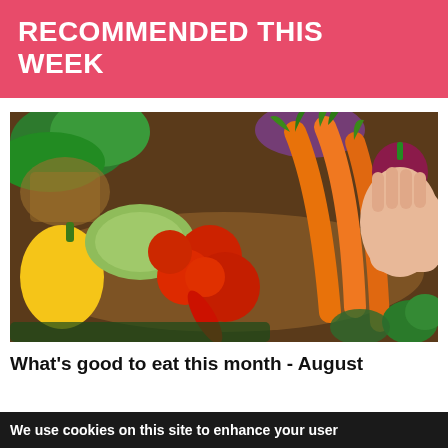RECOMMENDED THIS WEEK
[Figure (photo): A colorful assortment of fresh vegetables including carrots, tomatoes, yellow bell pepper, zucchini, radishes, kale, and broccoli arranged on a wooden surface, with a hand holding carrots and a radish.]
What's good to eat this month - August
We use cookies on this site to enhance your user